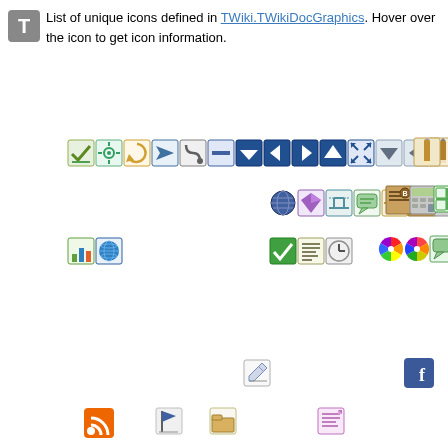List of unique icons defined in TWiki.TWikiDocGraphics. Hover over the icon to get icon information.
[Figure (infographic): Grid of unique TWiki document icons displayed at various positions across the page, including navigation arrows, file icons, chart icons, social media icons, and various UI element icons.]